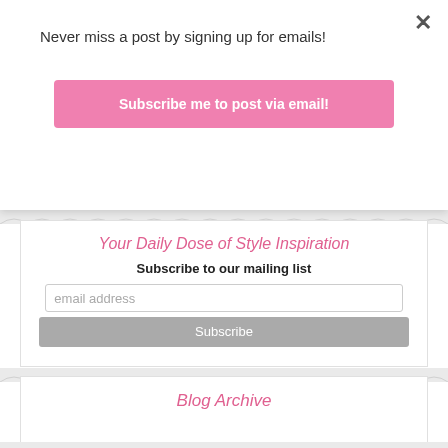Never miss a post by signing up for emails!
Subscribe me to post via email!
Search
Your Daily Dose of Style Inspiration
Subscribe to our mailing list
email address
Subscribe
Blog Archive